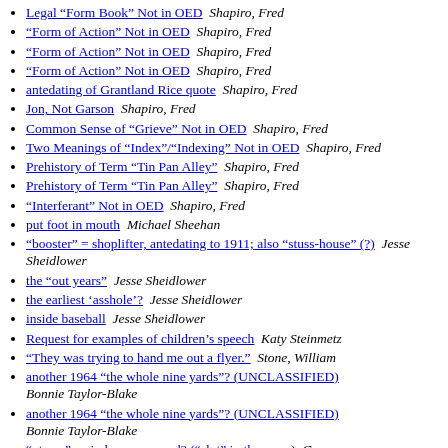Legal "Form Book" Not in OED   Shapiro, Fred
"Form of Action" Not in OED   Shapiro, Fred
"Form of Action" Not in OED   Shapiro, Fred
"Form of Action" Not in OED   Shapiro, Fred
antedating of Grantland Rice quote   Shapiro, Fred
Jon, Not Garson   Shapiro, Fred
Common Sense of "Grieve" Not in OED   Shapiro, Fred
Two Meanings of "Index"/"Indexing" Not in OED   Shapiro, Fred
Prehistory of Term "Tin Pan Alley"   Shapiro, Fred
Prehistory of Term "Tin Pan Alley"   Shapiro, Fred
"Interferant" Not in OED   Shapiro, Fred
put foot in mouth   Michael Sheehan
"booster" = shoplifter, antedating to 1911; also "stuss-house" (?)   Jesse Sheidlower
the "out years"   Jesse Sheidlower
the earliest 'asshole'?   Jesse Sheidlower
inside baseball   Jesse Sheidlower
Request for examples of children's speech   Katy Steinmetz
"They was trying to hand me out a flyer."   Stone, William
another 1964 "the whole nine yards"? (UNCLASSIFIED)   Bonnie Taylor-Blake
another 1964 "the whole nine yards"? (UNCLASSIFIED)   Bonnie Taylor-Blake
"uterus" an indecorous word? ("slut" in the news)   George